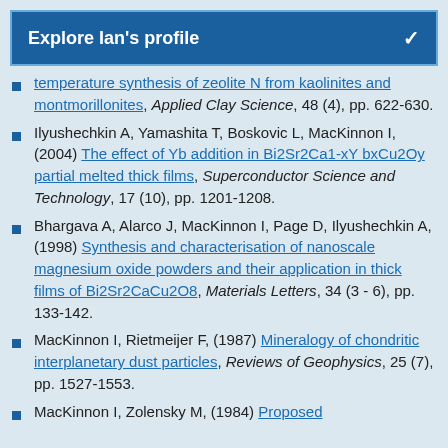Explore Ian's profile
temperature synthesis of zeolite N from kaolinites and montmorillonites, Applied Clay Science, 48 (4), pp. 622-630.
Ilyushechkin A, Yamashita T, Boskovic L, MacKinnon I, (2004) The effect of Yb addition in Bi2Sr2Ca1-xY bxCu2Oy partial melted thick films, Superconductor Science and Technology, 17 (10), pp. 1201-1208.
Bhargava A, Alarco J, MacKinnon I, Page D, Ilyushechkin A, (1998) Synthesis and characterisation of nanoscale magnesium oxide powders and their application in thick films of Bi2Sr2CaCu2O8, Materials Letters, 34 (3 - 6), pp. 133-142.
MacKinnon I, Rietmeijer F, (1987) Mineralogy of chondritic interplanetary dust particles, Reviews of Geophysics, 25 (7), pp. 1527-1553.
MacKinnon I, Zolensky M, (1984) Proposed